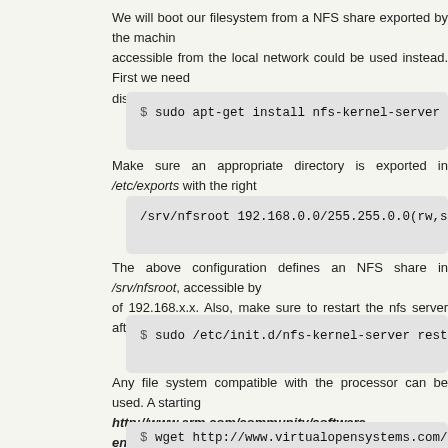We will boot our filesystem from a NFS share exported by the machine accessible from the local network could be used instead. First we need distribution's tools. E.g. for Debian and Ubuntu:
$ sudo apt-get install nfs-kernel-server nfs-common
Make sure an appropriate directory is exported in /etc/exports with the right
/srv/nfsroot 192.168.0.0/255.255.0.0(rw,sync,no_root
The above configuration defines an NFS share in /srv/nfsroot, accessible by of 192.168.x.x. Also, make sure to restart the nfs server after editing /etc/ex
$ sudo /etc/init.d/nfs-kernel-server restart
Any file system compatible with the processor can be used. A starting http://www.arm.com/community/software-enablement/linux.php. Alternatively environment:
$ wget http://www.virtualopensystems.com/downloads/g
We need to extract the tar in our exported NFS share: